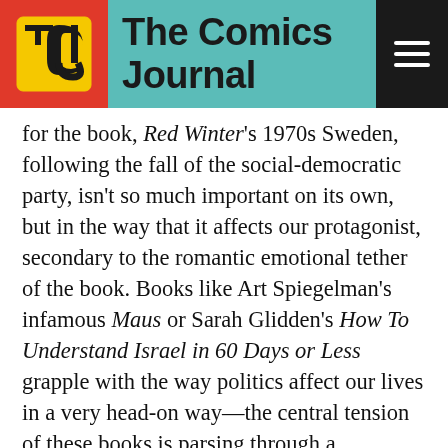The Comics Journal
for the book, Red Winter's 1970s Sweden, following the fall of the social-democratic party, isn't so much important on its own, but in the way that it affects our protagonist, secondary to the romantic emotional tether of the book. Books like Art Spiegelman's infamous Maus or Sarah Glidden's How To Understand Israel in 60 Days or Less grapple with the way politics affect our lives in a very head-on way—the central tension of these books is parsing through a problematic history, and using politics as a lens on love, and other emotions. Furmark has strayed from that route, and uses love as a means to view politics, commenting on almost exclusively the ways that a political affiliation